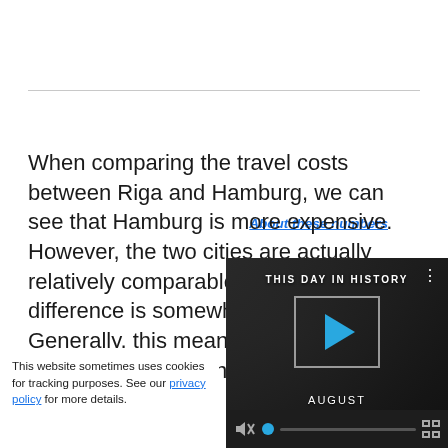About these numbers
When comparing the travel costs between Riga and Hamburg, we can see that Hamburg is more expensive. However, the two cities are actually relatively comparable in price, as the difference is somewhat minimal. Generally, this means that you could travel with g style and level of
This website sometimes uses cookies for tracking purposes. See our privacy policy for more details.
[Figure (screenshot): Video overlay showing 'THIS DAY IN HISTORY' with a play button, the label 'AUGUST', and video player controls including mute icon, progress bar, and fullscreen button.]